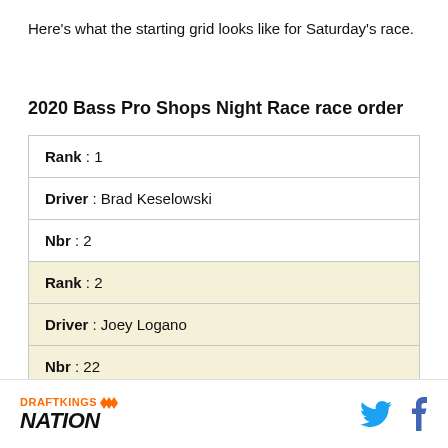Here's what the starting grid looks like for Saturday's race.
2020 Bass Pro Shops Night Race race order
| Rank : 1 |
| Driver : Brad Keselowski |
| Nbr : 2 |
| Rank : 2 |
| Driver : Joey Logano |
| Nbr : 22 |
| Rank : 3... |
DRAFTKINGS NATION